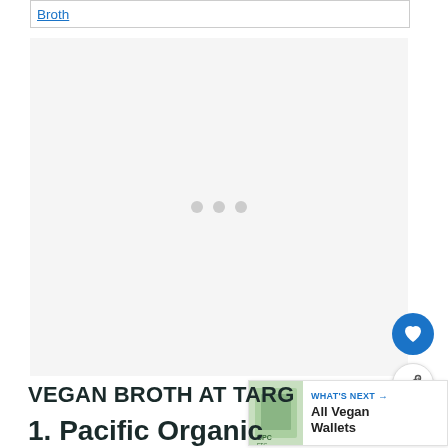Broth
[Figure (photo): Loading placeholder image area with three gray dots centered on a light gray background]
VEGAN BROTH AT TARG
WHAT'S NEXT → All Vegan Wallets
1. Pacific Organic